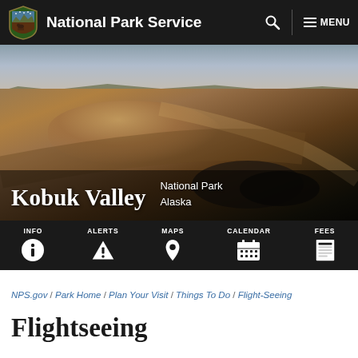National Park Service  🔍  ≡ MENU
[Figure (photo): Panoramic landscape photo of Kobuk Valley National Park showing rolling tundra hills under a wide sky at dusk or dawn]
Kobuk Valley  National Park  Alaska
[Figure (infographic): Navigation icon bar with INFO, ALERTS, MAPS, CALENDAR, FEES icons on dark background]
NPS.gov / Park Home / Plan Your Visit / Things To Do / Flight-Seeing
Flightseeing